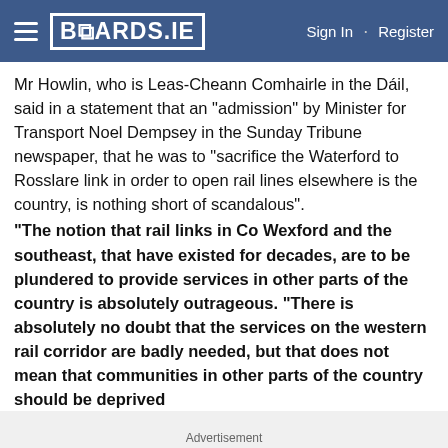BOARDS.IE  Sign In · Register
Mr Howlin, who is Leas-Cheann Comhairle in the Dáil, said in a statement that an “admission” by Minister for Transport Noel Dempsey in the Sunday Tribune newspaper, that he was to “sacrifice the Waterford to Rosslare link in order to open rail lines elsewhere is the country, is nothing short of scandalous”.
“The notion that rail links in Co Wexford and the southeast, that have existed for decades, are to be plundered to provide services in other parts of the country is absolutely outrageous. “There is absolutely no doubt that the services on the western rail corridor are badly needed, but that does not mean that communities in other parts of the country should be deprived
Advertisement